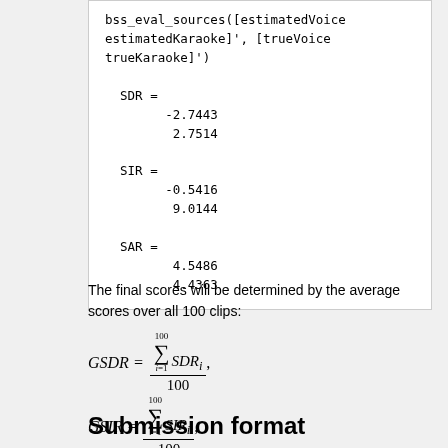bss_eval_sources([estimatedVoice estimatedKaraoke]', [trueVoice trueKaraoke]')

  SDR =
        -2.7443
         2.7514

  SIR =
        -0.5416
         9.0144

  SAR =
         4.5486
         4.4363
The final scores will be determined by the average scores over all 100 clips:
Submission format